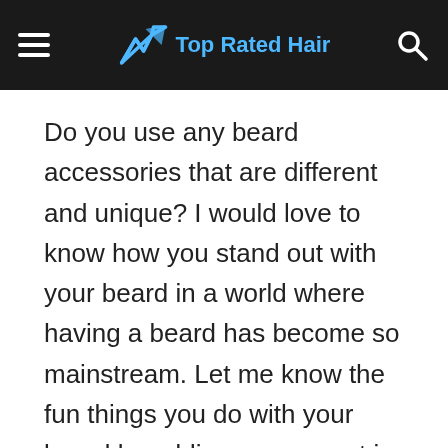Top Rated Hair
Do you use any beard accessories that are different and unique? I would love to know how you stand out with your beard in a world where having a beard has become so mainstream. Let me know the fun things you do with your beard by adding a comment in the box below!